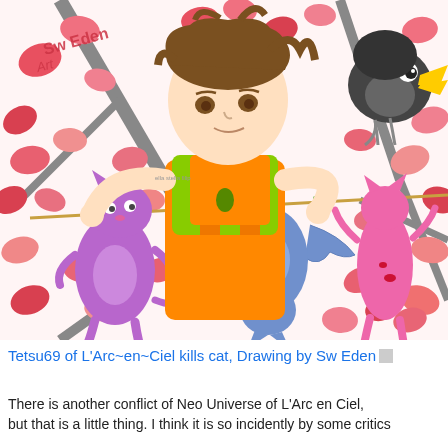[Figure (illustration): Anime-style illustration of a young man with brown hair wearing a green shirt and orange apron, hanging cartoon cats (purple, blue, pink) on a clothesline between tree branches with red maple leaves. A cartoon bird with a large beak sits on the line at top right. Text 'Sw Eden' appears in the upper left corner.]
Tetsu69 of L'Arc~en~Ciel kills cat, Drawing by Sw Eden
There is another conflict of Neo Universe of L'Arc en Ciel, but that is a little thing. I think it is so incidently by some critics